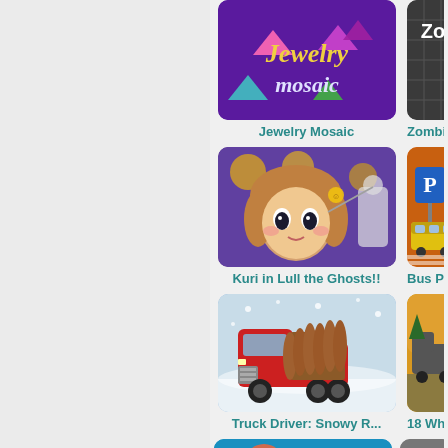[Figure (screenshot): Left gray navigation/sidebar panel]
[Figure (screenshot): Jewelry Mosaic game thumbnail - purple background with colorful gem logo]
Jewelry Mosaic
[Figure (screenshot): Zombie M... game thumbnail - dark grid background with zombie text]
Zombie M...
[Figure (screenshot): Kuri in Lull the Ghosts!! game thumbnail - anime girl with glowing orbs]
Kuri in Lull the Ghosts!!
[Figure (screenshot): Bus Pa... game thumbnail - parking sign with yellow bus]
Bus Pa...
[Figure (screenshot): Truck Driver Snowy R... game thumbnail - red truck in snow]
Truck Driver: Snowy R...
[Figure (screenshot): 18 Wheel... game thumbnail - truck on road]
18 Wheel...
[Figure (screenshot): Bottom left game thumbnail partial]
[Figure (screenshot): Bottom right game thumbnail partial]